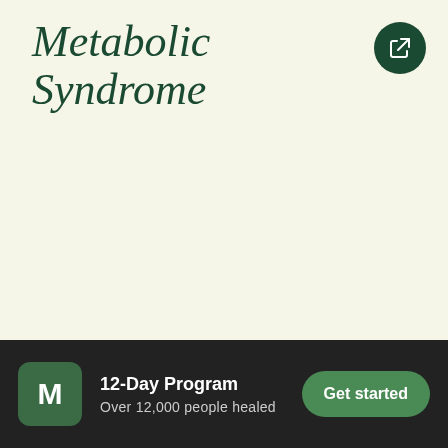Metabolic Syndrome
[Figure (logo): Dark green circular share/export button icon in top right corner]
[Figure (logo): Green rounded square M logo icon for the 12-Day Program app]
12-Day Program
Over 12,000 people healed
Get started